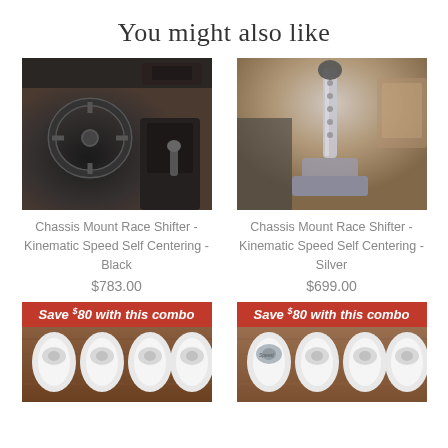You might also like
[Figure (photo): BMW car interior showing steering wheel, dashboard, and gear shifter in dark tones]
[Figure (photo): Close-up of a chassis mount race shifter, silver/chrome, mounted in car interior]
Chassis Mount Race Shifter - Kinematic Speed Self Centering - Black
$783.00
Chassis Mount Race Shifter - Kinematic Speed Self Centering - Silver
$699.00
[Figure (photo): White bushing combo set on wooden background with red Save $80 with this combo banner]
[Figure (photo): White bushing combo set with silver bushing on wooden background with red Save $80 with this combo banner]